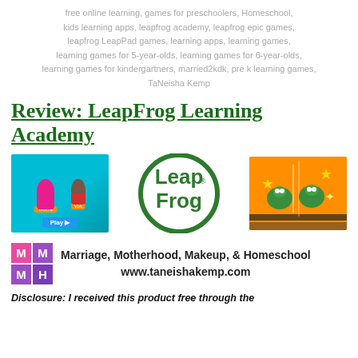free online learning, games for preschoolers, Homeschool, kids learning apps, leapfrog academy, leapfrog epic games, leapfrog LeapPad games, learning apps, learning games, learning games for 5-year-olds, learning games for 6-year-olds, learning games for kindergartners, married2kdk, pre k learning games, TaNeisha Kemp
Review: LeapFrog Learning Academy
[Figure (photo): Three images side by side: a LeapFrog game app screenshot with characters and Play button, the LeapFrog circular logo in dark green, and a screenshot of animated frog characters with sparkles]
[Figure (logo): Marriage Motherhood Makeup and Homeschool blog logo - four colored squares with M M M H letters - alongside text 'Marriage, Motherhood, Makeup, & Homeschool' and 'www.taneishakemp.com']
Disclosure: I received this product free through the